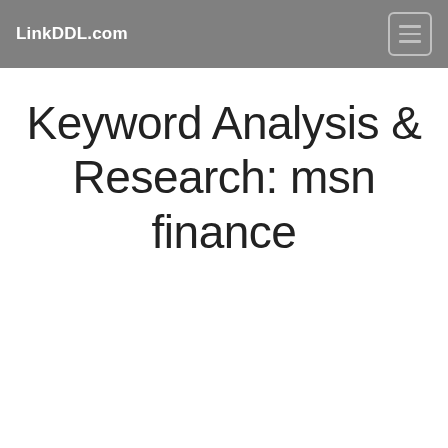LinkDDL.com
Keyword Analysis & Research: msn finance